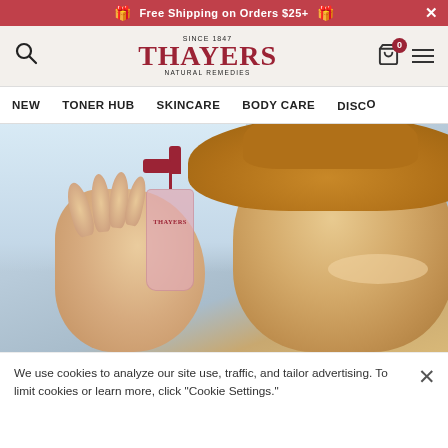Free Shipping on Orders $25+
[Figure (logo): Thayers Natural Remedies logo — SINCE 1847, THAYERS, NATURAL REMEDIES in dark red serif font on beige background]
NEW   TONER HUB   SKINCARE   BODY CARE   DISC...
[Figure (photo): Woman wearing a tan wide-brim hat, smiling, holding up a Thayers spray bottle toward the camera, outdoor/beach background]
We use cookies to analyze our site use, traffic, and tailor advertising. To limit cookies or learn more, click "Cookie Settings."